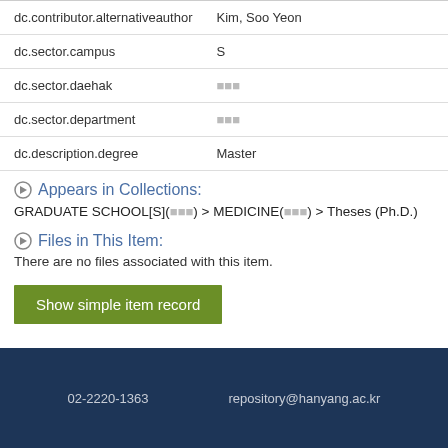| Field | Value |
| --- | --- |
| dc.contributor.alternativeauthor | Kim, Soo Yeon |
| dc.sector.campus | S |
| dc.sector.daehak | 의과대학 |
| dc.sector.department | 의학과 |
| dc.description.degree | Master |
Appears in Collections:
GRADUATE SCHOOL[S](서울) > MEDICINE(의학) > Theses (Ph.D.)
Files in This Item:
There are no files associated with this item.
Show simple item record
02-2220-1363    repository@hanyang.ac.kr